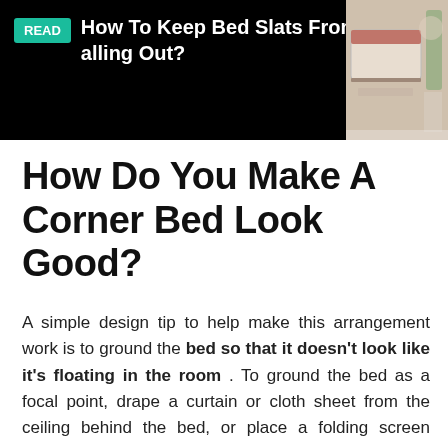[Figure (screenshot): Dark banner with READ badge in teal, article title 'How To Keep Bed Slats From Falling Out?' in white text on black background, and a bedroom photo on the right.]
How Do You Make A Corner Bed Look Good?
A simple design tip to help make this arrangement work is to ground the bed so that it doesn't look like it's floating in the room . To ground the bed as a focal point, drape a curtain or cloth sheet from the ceiling behind the bed, or place a folding screen behind it instead.